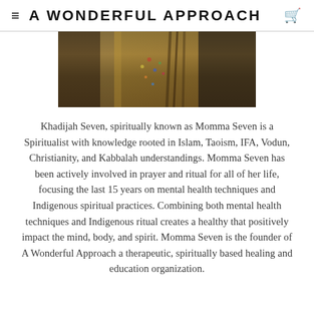≡ A WONDERFUL APPROACH 🛒
[Figure (photo): Partial photo of a person wearing colorful beaded accessories and braids, cropped showing neck and lower head area against a dark background.]
Khadijah Seven, spiritually known as Momma Seven is a Spiritualist with knowledge rooted in Islam, Taoism, IFA, Vodun, Christianity, and Kabbalah understandings. Momma Seven has been actively involved in prayer and ritual for all of her life, focusing the last 15 years on mental health techniques and Indigenous spiritual practices. Combining both mental health techniques and Indigenous ritual creates a healthy that positively impact the mind, body, and spirit. Momma Seven is the founder of A Wonderful Approach a therapeutic, spiritually based healing and education organization.